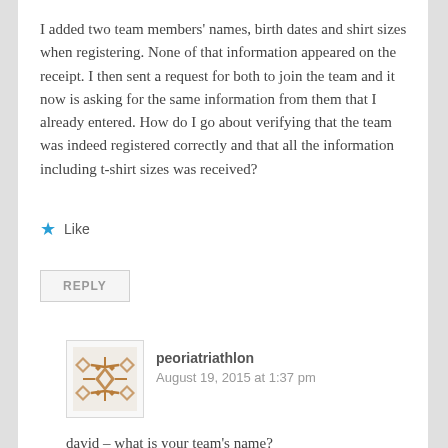I added two team members' names, birth dates and shirt sizes when registering. None of that information appeared on the receipt. I then sent a request for both to join the team and it now is asking for the same information from them that I already entered. How do I go about verifying that the team was indeed registered correctly and that all the information including t-shirt sizes was received?
★ Like
REPLY
peoriatriathlon
August 19, 2015 at 1:37 pm
david – what is your team's name?
Please send an email to the race director (–
brad@bushwhacker.com–)
★ Like